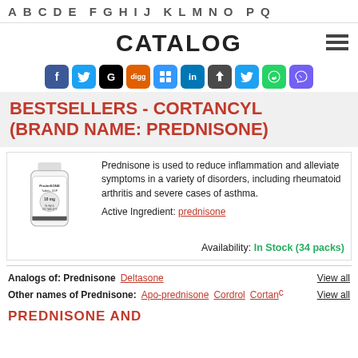A B C D E F G H I J K L M N O P Q
CATALOG
[Figure (infographic): Social media sharing icons row: Facebook (blue), Twitter (light blue), Google (black), Digg (orange), Delicious (blue), LinkedIn (blue), Pinboard (dark), Twitter variant (blue), WhatsApp (green), Viber (purple)]
BESTSELLERS - CORTANCYL (BRAND NAME: PREDNISONE)
[Figure (photo): White pill bottle labeled PredniSONE Tablets USP 10 mg, 100 tablets]
Prednisone is used to reduce inflammation and alleviate symptoms in a variety of disorders, including rheumatoid arthritis and severe cases of asthma.
Active Ingredient: prednisone
Availability: In Stock (34 packs)
Analogs of: Prednisone   Deltasone   View all
Other names of Prednisone:   Apo-prednisone   Cordrol   Cortancyl   View all